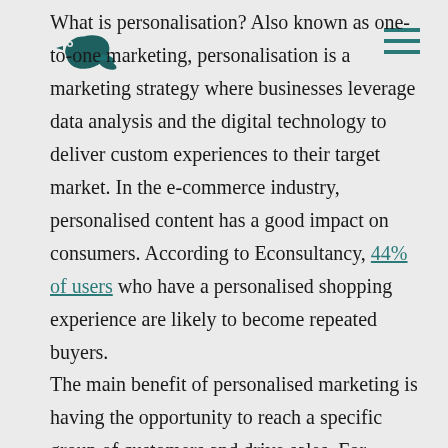[Figure (logo): Small dark teal bird/leaf logo in the upper left]
What is personalisation? Also known as one-to-one marketing, personalisation is a marketing strategy where businesses leverage data analysis and the digital technology to deliver custom experiences to their target market. In the e-commerce industry, personalised content has a good impact on consumers. According to Econsultancy, 44% of users who have a personalised shopping experience are likely to become repeated buyers.
The main benefit of personalised marketing is having the opportunity to reach a specific group of customers and drive sales. For